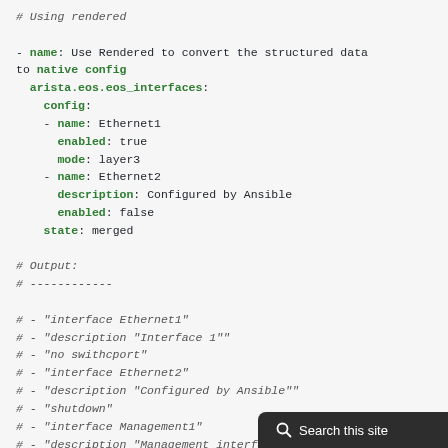# Using rendered

- name: Use Rendered to convert the structured data to native config
  arista.eos.eos_interfaces:
    config:
    - name: Ethernet1
      enabled: true
      mode: layer3
    - name: Ethernet2
      description: Configured by Ansible
      enabled: false
    state: merged

# Output:
# ------------

# - "interface Ethernet1"
# - "description "Interface 1""
# - "no swithcport"
# - "interface Ethernet2"
# - "description "Configured by Ansible""
# - "shutdown"
# - "interface Management1"
# - "description "Management interface""
# - "ip address dhcp"